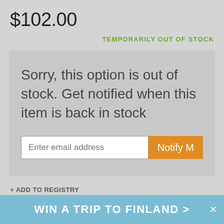$102.00
TEMPORARILY OUT OF STOCK
Sorry, this option is out of stock. Get notified when this item is back in stock
Enter email address
Notify M
+ ADD TO REGISTRY
WIN A TRIP TO FINLAND >